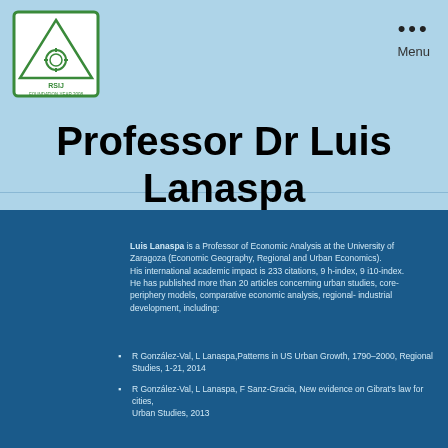[Figure (logo): RSIJ organization logo with triangle and gear symbol, green border, text RSIJ and FOUNDATION YEAR 2008]
Menu
Professor Dr Luis Lanaspa
Luis Lanaspa is a Professor of Economic Analysis at the University of Zaragoza (Economic Geography, Regional and Urban Economics). His international academic impact is 233 citations, 9 h-index, 9 i10-index. He has published more than 20 articles concerning urban studies, core-periphery models, comparative economic analysis, regional- industrial development, including:
R González-Val, L Lanaspa,Patterns in US Urban Growth, 1790–2000, Regional Studies, 1-21, 2014
R González-Val, L Lanaspa, F Sanz-Gracia, New evidence on Gibrat's law for cities, Urban Studies, 2013